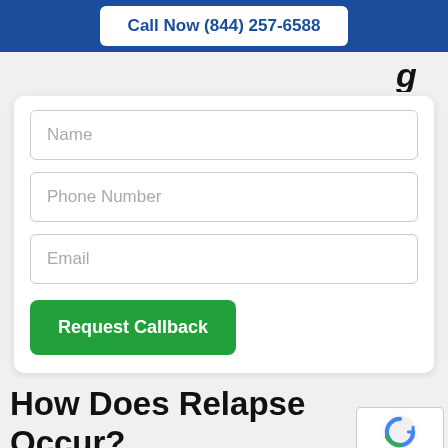Call Now (844) 257-6588
...p...g
[Figure (screenshot): Web form with fields for Name, Phone Number, Email, and a green Request Callback button]
How Does Relapse Occur?